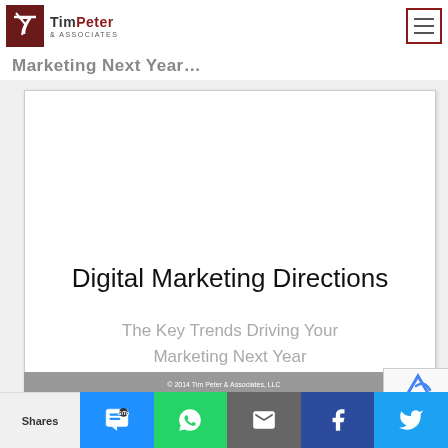Tim Peter & Associates — Navigation header
Marketing Next Year…
[Figure (screenshot): Slide preview showing 'Digital Marketing Directions — The Key Trends Driving Your Marketing Next Year' with copyright '© 2014 Tim Peter & Associates, LLC']
Shares